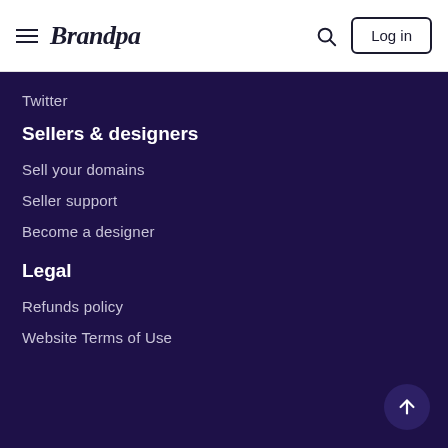Brandpa — Log in
Twitter
Sellers & designers
Sell your domains
Seller support
Become a designer
Legal
Refunds policy
Website Terms of Use